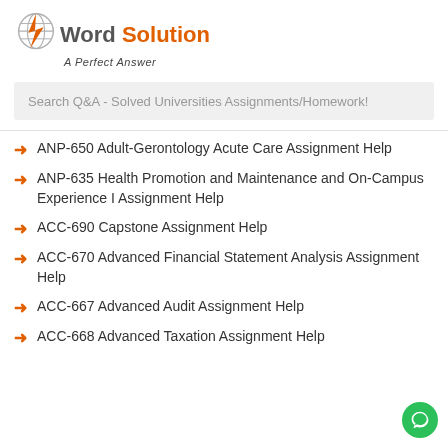[Figure (logo): My Word Solution logo with orange lightning bolt and globe icon, tagline 'A Perfect Answer']
Search Q&A - Solved Universities Assignments/Homework!
ANP-650 Adult-Gerontology Acute Care Assignment Help
ANP-635 Health Promotion and Maintenance and On-Campus Experience I Assignment Help
ACC-690 Capstone Assignment Help
ACC-670 Advanced Financial Statement Analysis Assignment Help
ACC-667 Advanced Audit Assignment Help
ACC-668 Advanced Taxation Assignment Help